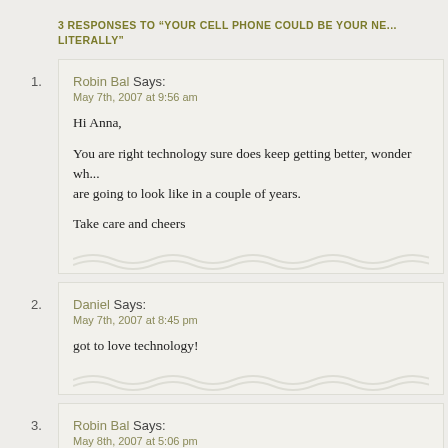3 RESPONSES TO “YOUR CELL PHONE COULD BE YOUR NE... LITERALLY”
Robin Bal Says:
May 7th, 2007 at 9:56 am
Hi Anna,

You are right technology sure does keep getting better, wonder what things are going to look like in a couple of years.

Take care and cheers
Daniel Says:
May 7th, 2007 at 8:45 pm
got to love technology!
Robin Bal Says:
May 8th, 2007 at 5:06 pm